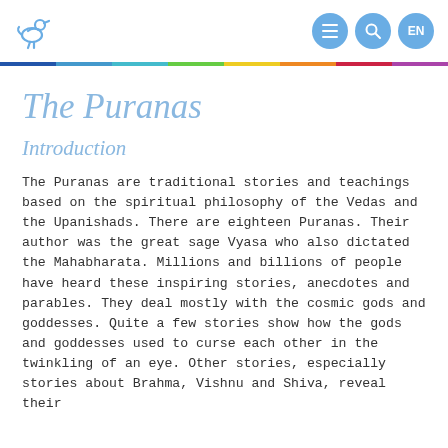The Puranas - navigation header with logo and EN language toggle
The Puranas
Introduction
The Puranas are traditional stories and teachings based on the spiritual philosophy of the Vedas and the Upanishads. There are eighteen Puranas. Their author was the great sage Vyasa who also dictated the Mahabharata. Millions and billions of people have heard these inspiring stories, anecdotes and parables. They deal mostly with the cosmic gods and goddesses. Quite a few stories show how the gods and goddesses used to curse each other in the twinkling of an eye. Other stories, especially stories about Brahma, Vishnu and Shiva, reveal their...